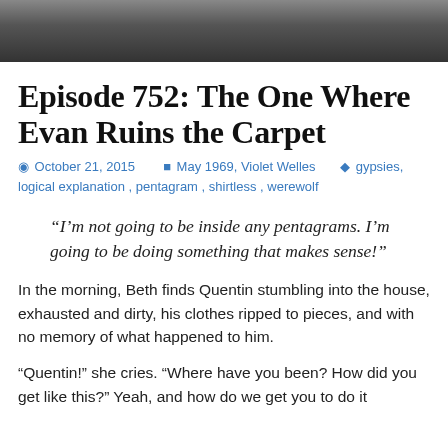[Figure (photo): Dark photo strip at top of page, showing partial view of figures, dark tones]
Episode 752: The One Where Evan Ruins the Carpet
October 21, 2015   May 1969, Violet Welles   gypsies, logical explanation, pentagram, shirtless, werewolf
“I’m not going to be inside any pentagrams. I’m going to be doing something that makes sense!”
In the morning, Beth finds Quentin stumbling into the house, exhausted and dirty, his clothes ripped to pieces, and with no memory of what happened to him.
“Quentin!” she cries. “Where have you been? How did you get like this?” Yeah, and how do we get you to do it